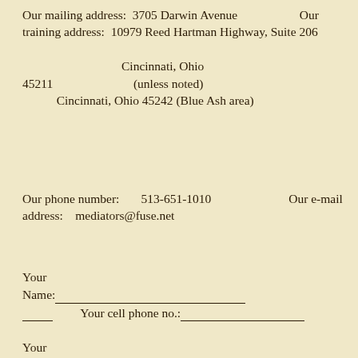Our mailing address:  3705 Darwin Avenue                               Our training address:  10979 Reed Hartman Highway, Suite 206

                                    Cincinnati, Ohio 45211                               (unless noted)
            Cincinnati, Ohio 45242 (Blue Ash area)
Our phone number:        513-651-1010                                    Our e-mail address:    mediators@fuse.net
Your Name:____________________________________ ____            Your cell phone no.:____________________________

Your Address:__________________________________ ____            Your e-mail: